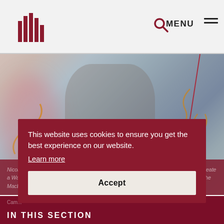MacEwan University logo | Search | MENU
[Figure (photo): A young woman with glasses, bangs, and long hair standing in front of a glass display with orange illustrations and a red string installation. A tag reading 'Rock bird' is visible in the background.]
Nicole Da Costa partnered with members of the MacEwan Ceramics Studio Club to create a Walk-Through Memorial Book long exhibit – and an art installation – showcased in the MacEwan Library...
This website uses cookies to ensure you get the best experience on our website.
Learn more
Accept
Cam...
IN THIS SECTION